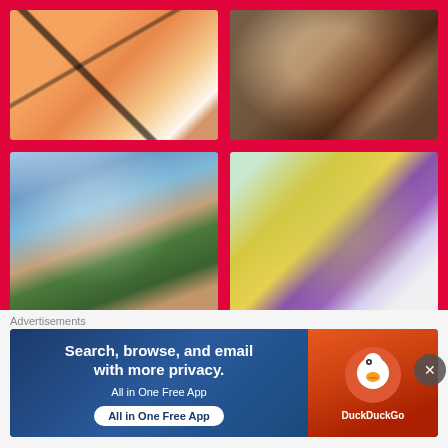[Figure (photo): Close-up of animated character face (Goku-style), orange and skin tones with dark outlines]
[Figure (photo): Close-up of animated character Aang from Avatar, dark serious expression]
[Figure (photo): Animated character in green shirt resembling Shaggy, blue sky background]
[Figure (photo): Anime character with white/silver hair, yellow skin, teal eye mask, purple outfit]
[Figure (photo): My Little Pony style animated character, pink and purple, partially visible]
[Figure (photo): Older person close-up photo, partially visible]
Advertisements
[Figure (screenshot): DuckDuckGo advertisement banner: Search, browse, and email with more privacy. All in One Free App. DuckDuckGo logo on orange-red background.]